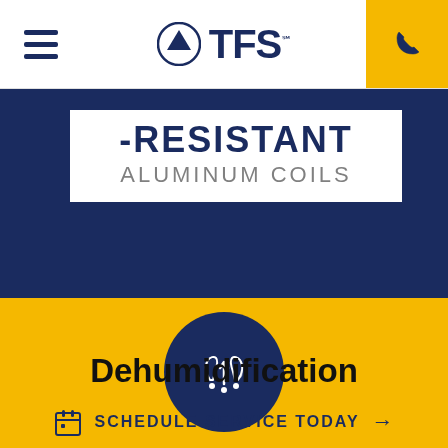TFS logo navigation bar with hamburger menu and phone button
-RESISTANT ALUMINUM COILS
[Figure (logo): Dark navy circle with white dehumidification icon (hands/sprout symbol)]
Dehumidification
SCHEDULE SERVICE TODAY →